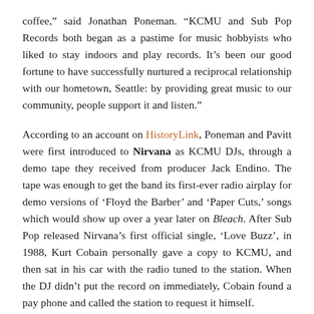coffee,” said Jonathan Poneman. “KCMU and Sub Pop Records both began as a pastime for music hobbyists who liked to stay indoors and play records. It’s been our good fortune to have successfully nurtured a reciprocal relationship with our hometown, Seattle: by providing great music to our community, people support it and listen.”
According to an account on HistoryLink, Poneman and Pavitt were first introduced to Nirvana as KCMU DJs, through a demo tape they received from producer Jack Endino. The tape was enough to get the band its first-ever radio airplay for demo versions of ‘Floyd the Barber’ and ‘Paper Cuts,’ songs which would show up over a year later on Bleach. After Sub Pop released Nirvana’s first official single, ‘Love Buzz’, in 1988, Kurt Cobain personally gave a copy to KCMU, and then sat in his car with the radio tuned to the station. When the DJ didn’t put the record on immediately, Cobain found a pay phone and called the station to request it himself.